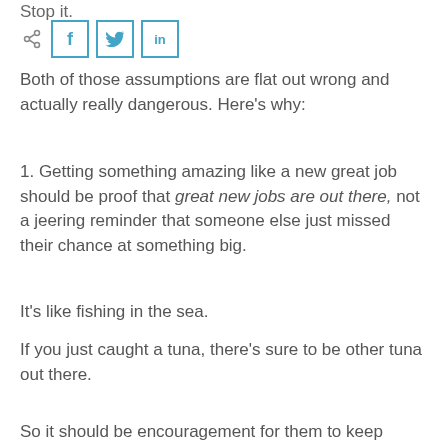Stop it.
[Figure (other): Social share bar with share icon, Facebook, Twitter, and LinkedIn buttons]
Both of those assumptions are flat out wrong and actually really dangerous. Here's why:
1. Getting something amazing like a new great job should be proof that great new jobs are out there, not a jeering reminder that someone else just missed their chance at something big.
It's like fishing in the sea.
If you just caught a tuna, there's sure to be other tuna out there.
So it should be encouragement for them to keep